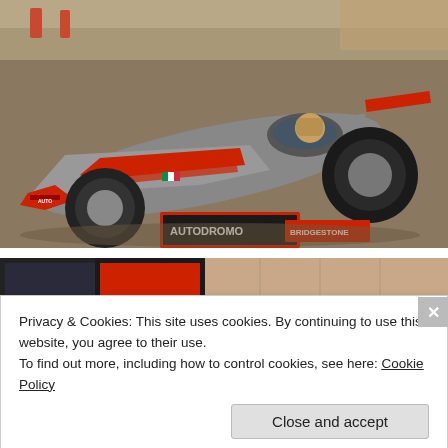[Figure (photo): A silver and red Formula racing car with a driver seated inside, photographed outdoors on sandy/dirt ground. Visible branding includes 'AUTO', 'AUTODROMO' and 'BRIDGESTONE' on the car and display board. Spectators visible in background.]
[Figure (photo): Partial view of another indoor automotive exhibit or showroom scene, partially obscured by cookie consent banner.]
Privacy & Cookies: This site uses cookies. By continuing to use this website, you agree to their use.
To find out more, including how to control cookies, see here: Cookie Policy
Close and accept